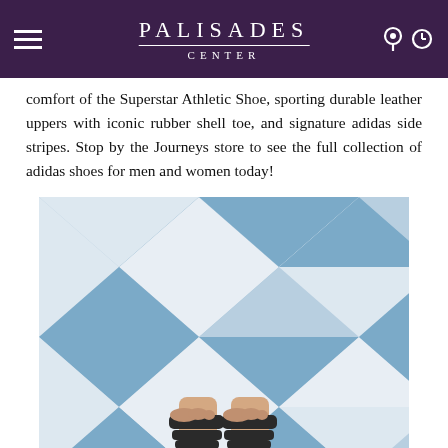PALISADES CENTER
comfort of the Superstar Athletic Shoe, sporting durable leather uppers with iconic rubber shell toe, and signature adidas side stripes. Stop by the Journeys store to see the full collection of adidas shoes for men and women today!
[Figure (photo): Overhead view of a person's feet wearing black leather sandals, standing on a blue and white diamond-patterned tile floor.]